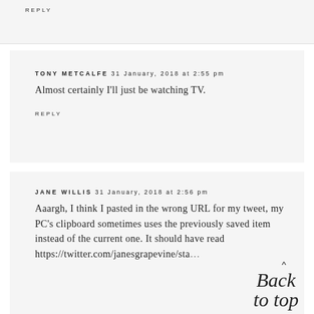REPLY
TONY METCALFE 31 January, 2018 at 2:55 pm
Almost certainly I'll just be watching TV.
REPLY
JANE WILLIS 31 January, 2018 at 2:56 pm
Aaargh, I think I pasted in the wrong URL for my tweet, my PC's clipboard sometimes uses the previously saved item instead of the current one. It should have read https://twitter.com/janesgrapevine/sta...